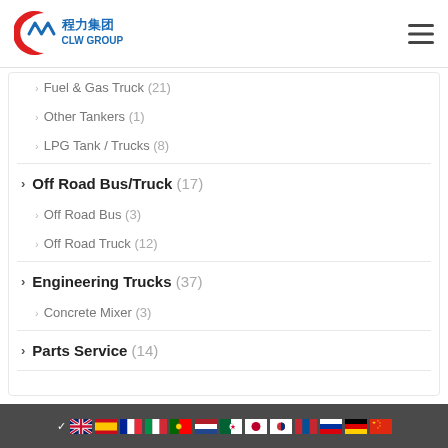CLW GROUP (程力集团) logo and navigation menu
Fuel & Gas Truck (21)
Other Tankers (1)
LPG Tank / Trucks (8)
Off Road Bus/Truck (17)
Off Road Bus (3)
Off Road Truck (12)
Engineering Trucks (37)
Concrete Mixer (3)
Parts Service (14)
Language selector flags: English (selected), Spanish, French, Italian, Portuguese, Dutch, Algerian, Japanese, Korean, Mongolian, Russian, German, Chinese